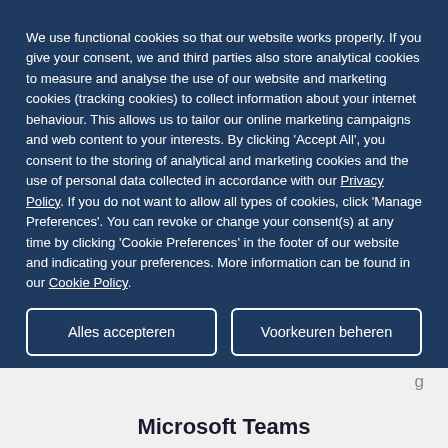We use functional cookies so that our website works properly. If you give your consent, we and third parties also store analytical cookies to measure and analyse the use of our website and marketing cookies (tracking cookies) to collect information about your internet behaviour. This allows us to tailor our online marketing campaigns and web content to your interests. By clicking 'Accept All', you consent to the storing of analytical and marketing cookies and the use of personal data collected in accordance with our Privacy Policy. If you do not want to allow all types of cookies, click 'Manage Preferences'. You can revoke or change your consent(s) at any time by clicking 'Cookie Preferences' in the footer of our website and indicating your preferences. More information can be found in our Cookie Policy.
Alles accepteren
Voorkeuren beheren
Microsoft Teams